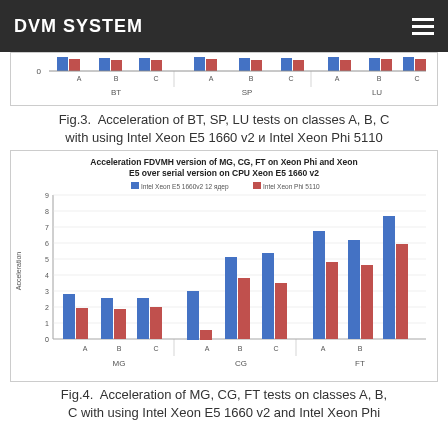DVM SYSTEM
[Figure (grouped-bar-chart): Partial view of grouped bar chart showing BT, SP, LU acceleration classes A, B, C]
Fig.3.  Acceleration of BT, SP, LU tests on classes A, B, C with using Intel Xeon E5 1660 v2 и Intel Xeon Phi 5110
[Figure (grouped-bar-chart): Acceleration FDVMH version of MG, CG, FT on Xeon Phi and Xeon E5 over serial version on CPU Xeon E5 1660 v2]
Fig.4.  Acceleration of MG, CG, FT tests on classes A, B, C with using Intel Xeon E5 1660 v2 and Intel Xeon Phi